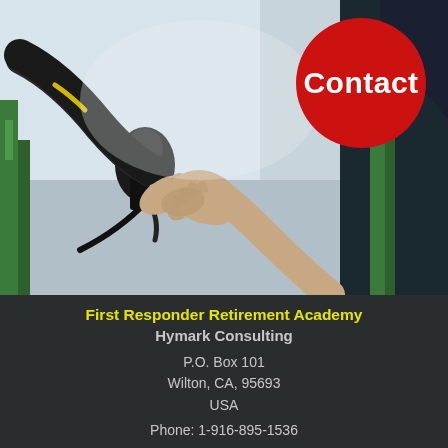[Figure (photo): Overhead photo of two people's hands clasped together in a rescue grip — one person in firefighter/rescue gear reaching down from a structure with green railing, the other reaching up. Background shows a pale sky.]
Contact
First Responder Retirement Academy
Hymark Consulting
P.O. Box 101
Wilton, CA, 95693
USA
Phone: 1-916-895-1536